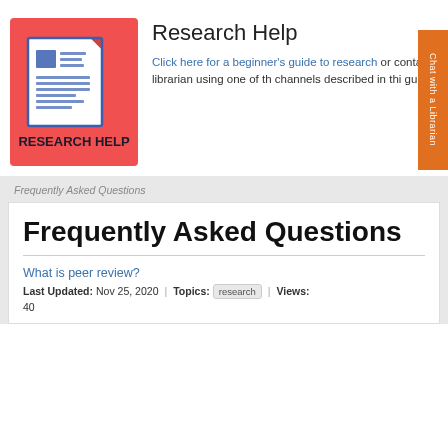[Figure (illustration): Red square icon with a blue document/newspaper graphic and text 'RESEARCH HELP' below in dark text]
Research Help
Click here for a beginner's guide to research or contact a librarian using one of the channels described in this guide.
Frequently Asked Questions
Frequently Asked Questions
What is peer review?
Last Updated: Nov 25, 2020 | Topics: research | Views: 40